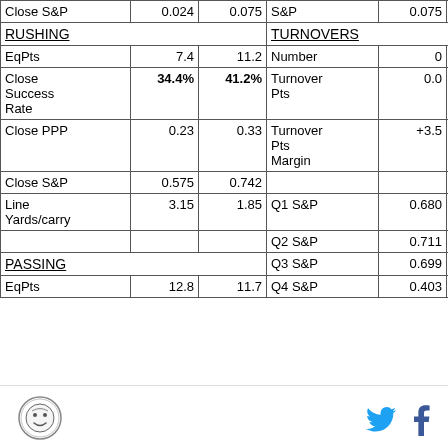|  |  |  |  |  |  |
| --- | --- | --- | --- | --- | --- |
| Close S&P | 0.024 | 0.075 | S&P | 0.075 | 0.534 |
| RUSHING |  |  | TURNOVERS |  |  |
| EqPts | 7.4 | 11.2 | Number | 0 | 1 |
| Close Success Rate | 34.4% | 41.2% | Turnover Pts | 0.0 | 3.5 |
| Close PPP | 0.23 | 0.33 | Turnover Pts Margin | +3.5 | -3.5 |
| Close S&P | 0.575 | 0.742 |  |  |  |
| Line Yards/carry | 3.15 | 1.85 | Q1 S&P | 0.680 | 0.593 |
|  |  |  | Q2 S&P | 0.711 | 0.552 |
| PASSING |  |  | Q3 S&P | 0.699 | 1.071 |
| EqPts | 12.8 | 11.7 | Q4 S&P | 0.403 | 0.501 |